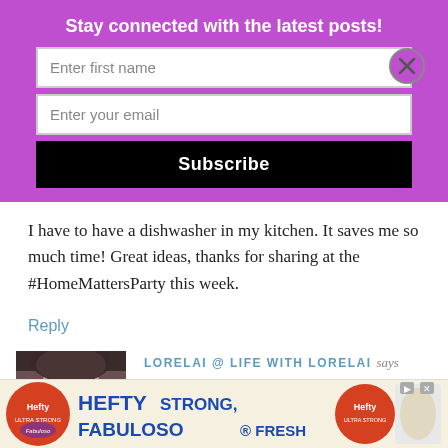Stay connected with the latest posts!
Enter first name
Enter your email
Subscribe
I have to have a dishwasher in my kitchen. It saves me so much time! Great ideas, thanks for sharing at the #HomeMattersParty this week.
Reply
LORELAI @ LIFE WITH LORELAI says
2018-05-01 AT 4:15 PM
[Figure (photo): Avatar photo of Lorelai, showing partial face with dark hair]
[Figure (infographic): Hefty Strong Fabuloso Fresh advertisement banner at the bottom of the page]